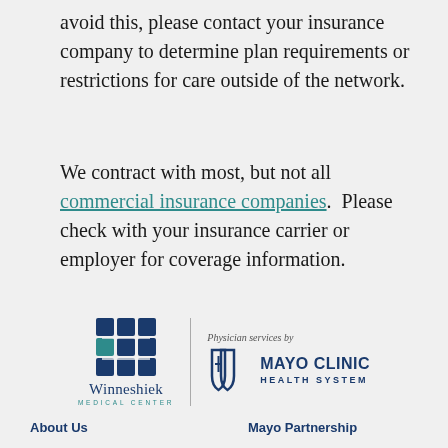avoid this, please contact your insurance company to determine plan requirements or restrictions for care outside of the network.
We contract with most, but not all commercial insurance companies.  Please check with your insurance carrier or employer for coverage information.
[Figure (logo): Winneshiek Medical Center logo with blue cross symbol and Mayo Clinic Health System logo with shields, separated by vertical line. Physician services by text above Mayo logo.]
About Us
Donate
Patients & Visitors
Billing & Insurance
Mayo Partnership
Find A Provider
Careers
901 Montgomery St.